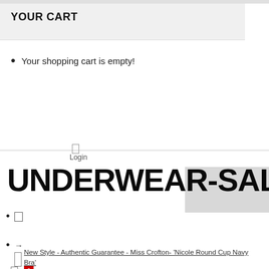YOUR CART
Your shopping cart is empty!
UNDERWEAR-SALE
→
New Style - Authentic Guarantee - Miss Crofton- 'Nicole Round Cup Navy Bra'